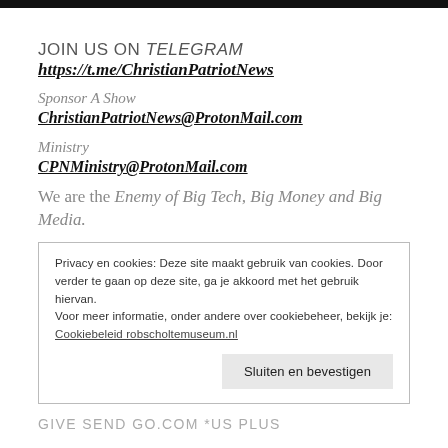JOIN US ON TELEGRAM https://t.me/ChristianPatriotNews
Sponsor A Show ChristianPatriotNews@ProtonMail.com
Ministry CPNMinistry@ProtonMail.com
We are the Enemy of Big Tech, Big Money and Big Media.
Privacy en cookies: Deze site maakt gebruik van cookies. Door verder te gaan op deze site, ga je akkoord met het gebruik hiervan.
Voor meer informatie, onder andere over cookiebeheer, bekijk je:
Cookiebeleid robscholtemuseum.nl
Sluiten en bevestigen
GIVE SEND GO.COM *US PLUS